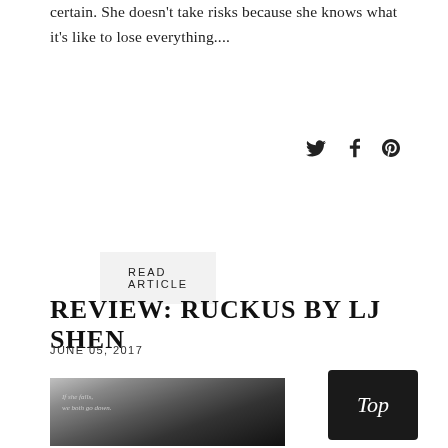certain. She doesn't take risks because she knows what it's like to lose everything....
READ ARTICLE
[Figure (other): Social media share icons: Twitter bird, Facebook f, Pinterest p]
REVIEW: RUCKUS BY LJ SHEN
JUNE 05, 2017
[Figure (photo): Black and white book cover photo showing a young shirtless man wet from shower, with text overlay 'If she falls, we both go down.']
Top